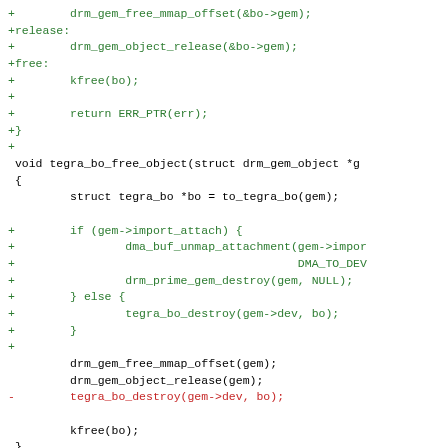[Figure (screenshot): Code diff screenshot showing C source code with added lines (green, prefixed with +), removed lines (red, prefixed with -), context lines (black), and a diff hunk header (blue). The code involves DRM GEM buffer object functions for the Tegra GPU driver.]